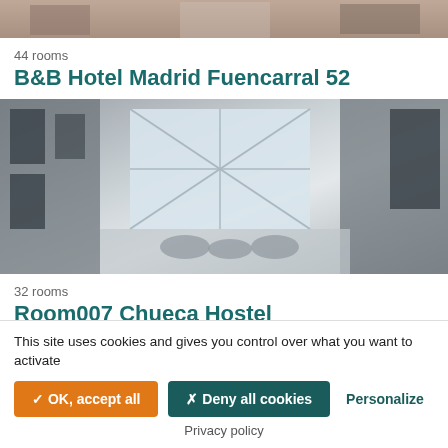[Figure (photo): Top portion of hotel/building image cropped at top]
44 rooms
B&B Hotel Madrid Fuencarral 52
[Figure (photo): Interior corridor or laundry room with large skylight window, black and white/grayscale]
32 rooms
Room007 Chueca Hostel
[Figure (photo): Bottom partial hotel interior image]
This site uses cookies and gives you control over what you want to activate
✓ OK, accept all
✗ Deny all cookies
Personalize
Privacy policy